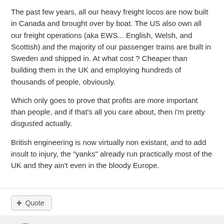The past few years, all our heavy freight locos are now built in Canada and brought over by boat. The US also own all our freight operations (aka EWS... English, Welsh, and Scottish) and the majority of our passenger trains are built in Sweden and shipped in. At what cost ? Cheaper than building them in the UK and employing hundreds of thousands of people, obviously.
Which only goes to prove that profits are more important than people, and if that's all you care about, then i'm pretty disgusted actually.
British engineering is now virtually non existant, and to add insult to injury, the "yanks" already run practically most of the UK and they ain't even in the bloody Europe.
Deltatango301
Posted June 13, 2016